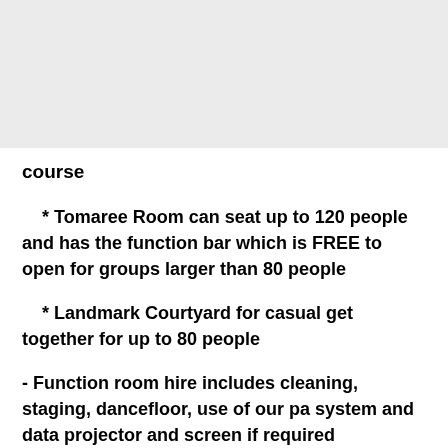course
* Tomaree Room can seat up to 120 people and has the function bar which is FREE to open for groups larger than 80 people
* Landmark Courtyard for casual get together for up to 80 people
- Function room hire includes cleaning, staging, dancefloor, use of our pa system and data projector and screen if required
- Decorate the room and the tables and make your